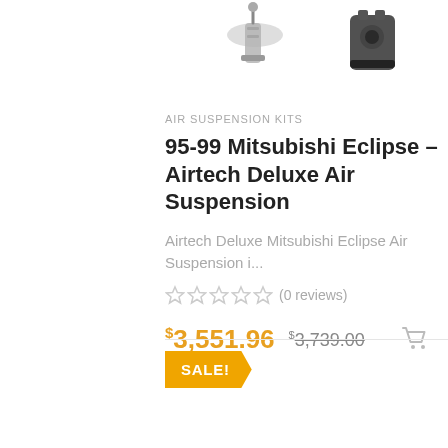[Figure (photo): Product image of air suspension kit parts (partially cropped at top), showing hardware components against white background]
AIR SUSPENSION KITS
95-99 Mitsubishi Eclipse – Airtech Deluxe Air Suspension
Airtech Deluxe Mitsubishi Eclipse Air Suspension i...
(0 reviews)
$3,551.96  $3,739.00
SALE!